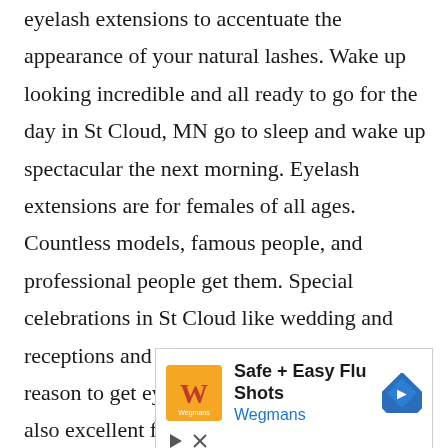eyelash extensions to accentuate the appearance of your natural lashes. Wake up looking incredible and all ready to go for the day in St Cloud, MN go to sleep and wake up spectacular the next morning. Eyelash extensions are for females of all ages. Countless models, famous people, and professional people get them. Special celebrations in St Cloud like wedding and receptions and birthday parties are a terrific reason to get eyelash extensions but they are also excellent for ordinary
[Figure (screenshot): Advertisement banner for Wegmans Safe + Easy Flu Shots with logo, navigation icon, and ad controls (play and close buttons)]